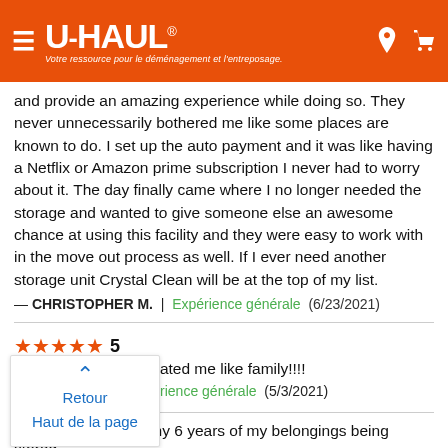[Figure (logo): U-Haul logo on orange header bar with hamburger menu icon, location pin icon, and cart icon. Subtitle: Votre ressource pour le déménagement et l'entreposage.]
and provide an amazing experience while doing so. They never unnecessarily bothered me like some places are known to do. I set up the auto payment and it was like having a Netflix or Amazon prime subscription I never had to worry about it. The day finally came where I no longer needed the storage and wanted to give someone else an awesome chance at using this facility and they were easy to work with in the move out process as well. If I ever need another storage unit Crystal Clean will be at the top of my list.
— CHRISTOPHER M. | Expérience générale (6/23/2021)
5
Great staff!!! They treated me like family!!!!
— DelUndra C. | Expérience générale (5/3/2021)
Retour
Haut de la page
Not one problem in my 6 years of my belongings being stored